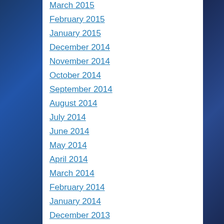March 2015
February 2015
January 2015
December 2014
November 2014
October 2014
September 2014
August 2014
July 2014
June 2014
May 2014
April 2014
March 2014
February 2014
January 2014
December 2013